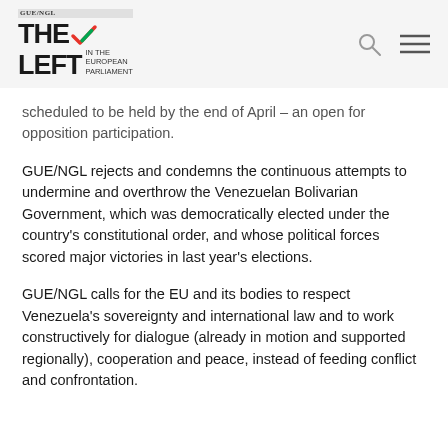GUE/NGL — The Left in the European Parliament (logo and navigation)
scheduled to be held by the end of April – an open for opposition participation.
GUE/NGL rejects and condemns the continuous attempts to undermine and overthrow the Venezuelan Bolivarian Government, which was democratically elected under the country's constitutional order, and whose political forces scored major victories in last year's elections.
GUE/NGL calls for the EU and its bodies to respect Venezuela's sovereignty and international law and to work constructively for dialogue (already in motion and supported regionally), cooperation and peace, instead of feeding conflict and confrontation.